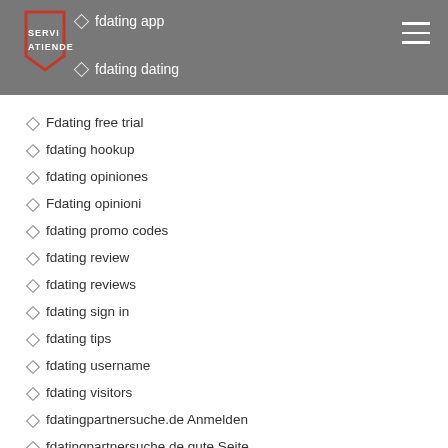fdating app | fdating dating
Fdating free trial
fdating hookup
fdating opiniones
Fdating opinioni
fdating promo codes
fdating review
fdating reviews
fdating sign in
fdating tips
fdating username
fdating visitors
fdatingpartnersuche.de Anmelden
fdatingpartnersuche.de gute Seite
fdatingpartnersuche.de offizielle Website
fdatingpartnersuche.de Pop ?ber diese Jungs